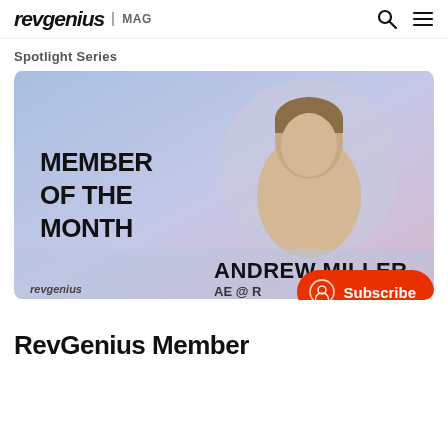revgenius | MAG
Spotlight Series
[Figure (infographic): Revgenius Member of the Month banner featuring Andrew Miller, AE, with a circular headshot photo on a blue-pink gradient background. Text reads: MEMBER OF THE MONTH / ANDREW MILLER / AE @ [company cut off]. Revgenius logo at bottom left.]
RevGenius Member